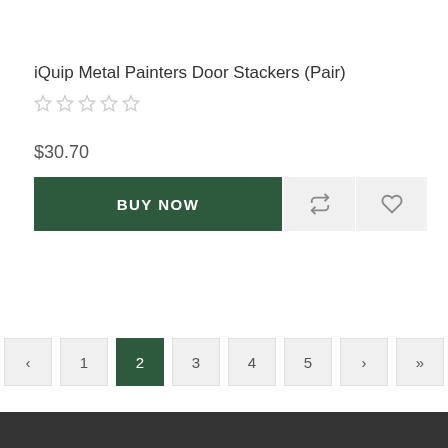iQuip Metal Painters Door Stackers (Pair)
[Figure (other): 5 empty star rating icons]
$30.70
[Figure (infographic): BUY NOW button (dark green), repeat icon button (light grey), heart/wishlist icon button (light grey)]
[Figure (infographic): Pagination controls: < 1 2(active) 3 4 5 > >>]